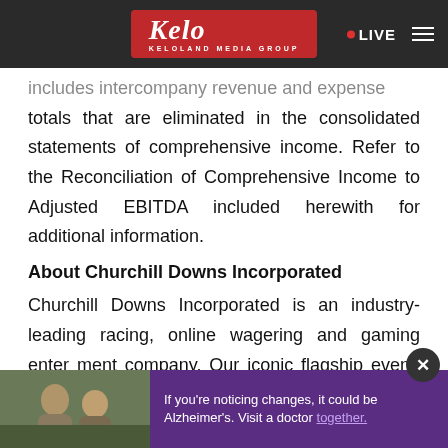KELOLAND Media Group — LIVE
includes intercompany revenue and expense totals that are eliminated in the consolidated statements of comprehensive income. Refer to the Reconciliation of Comprehensive Income to Adjusted EBITDA included herewith for additional information.
About Churchill Downs Incorporated
Churchill Downs Incorporated is an industry-leading racing, online wagering and gaming entertainment company. Our iconic flagship event, the Kentucky Derby. We own and
[Figure (screenshot): Advertisement overlay: photo of two people outdoors on left, purple background on right with text 'If you're noticing changes, it could be Alzheimer's. Visit a doctor together.' with X close button.]